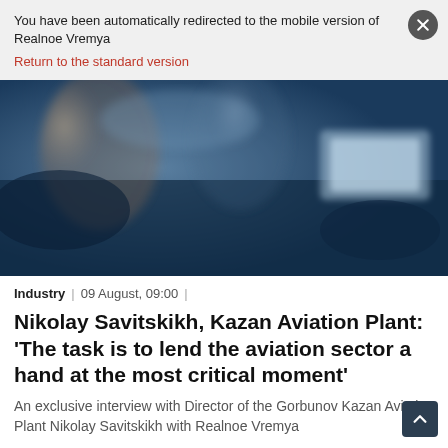You have been automatically redirected to the mobile version of Realnoe Vremya
Return to the standard version
[Figure (photo): Blurred photograph of people, likely at an aviation plant or industrial setting, with blue tones dominating]
Industry | 09 August, 09:00 |
Nikolay Savitskikh, Kazan Aviation Plant: ‘The task is to lend the aviation sector a hand at the most critical moment’
An exclusive interview with Director of the Gorbunov Kazan Aviation Plant Nikolay Savitskikh with Realnoe Vremya